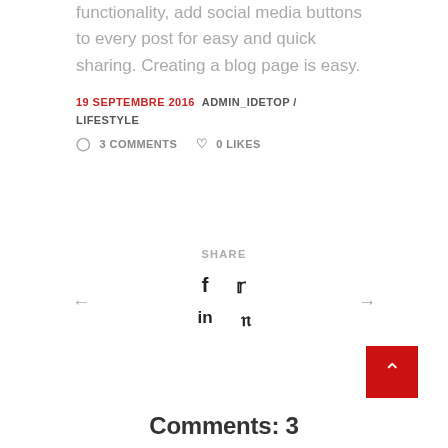functionality, add social media buttons to every post for easy and quick sharing. Creating a blog page is easy.
19 SEPTEMBRE 2016 ADMIN_IDETOP / LIFESTYLE
3 COMMENTS   0 LIKES
SHARE
[Figure (infographic): Social share icons: Facebook, Twitter, LinkedIn, Pinterest]
Comments: 3